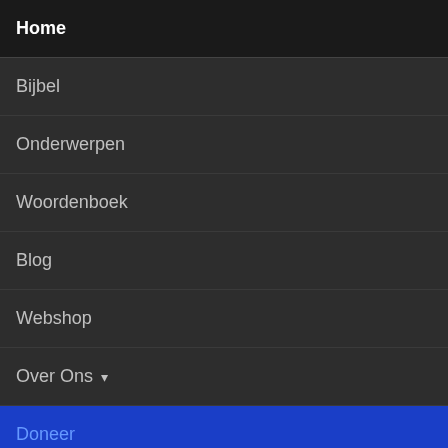Home
Bijbel
Onderwerpen
Woordenboek
Blog
Webshop
Over Ons ▾
Doneer
Deze website gebruikt cookies
Door deze website te gebruiken, ga je akkoord met ons gebruik van cookies.
Akkoord
Meer informatie
, A Greek-English
the Greek New
Testament and Concordance; Kapa